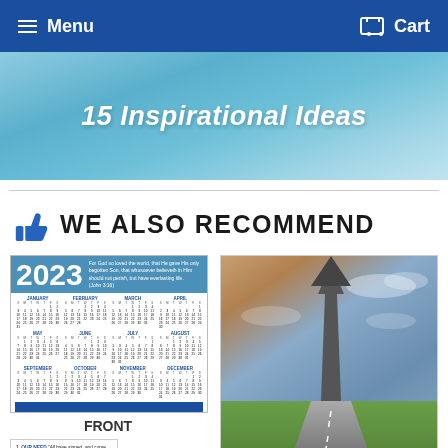Menu   Cart
[Figure (illustration): Light blue banner with italic bold white text reading '15 Inspirational Ideas']
WE ALSO RECOMMEND
[Figure (photo): 2023 wall calendar with Bible verse John 3:16 at top, labeled FRONT below]
[Figure (photo): Partial view of a sub-image showing steps text with OUR NEED, SIN'S PENALTY headings]
[Figure (photo): Photo of a road leading into the horizon with a large arrow rising into the sky]